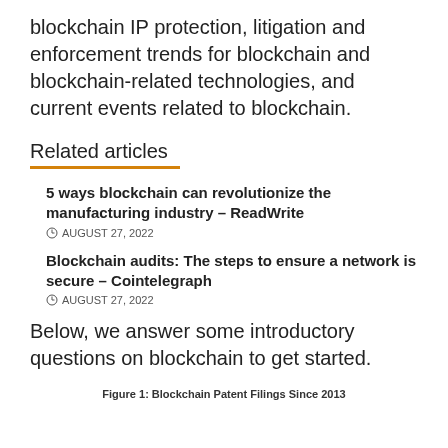blockchain IP protection, litigation and enforcement trends for blockchain and blockchain-related technologies, and current events related to blockchain.
Related articles
5 ways blockchain can revolutionize the manufacturing industry – ReadWrite
© AUGUST 27, 2022
Blockchain audits: The steps to ensure a network is secure – Cointelegraph
© AUGUST 27, 2022
Below, we answer some introductory questions on blockchain to get started.
Figure 1: Blockchain Patent Filings Since 2013